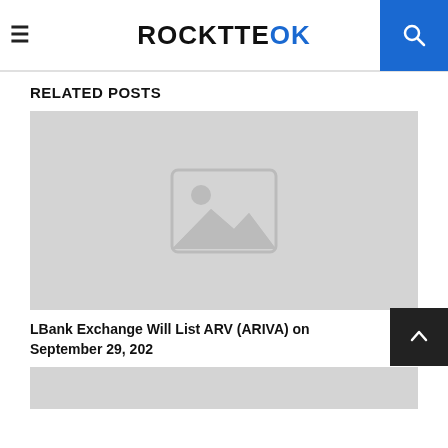ROCKTTEO k
RELATED POSTS
[Figure (photo): Placeholder image thumbnail with image icon (mountain and sun)]
LBank Exchange Will List ARV (ARIVA) on September 29, 2021
[Figure (photo): Second placeholder image thumbnail, partially visible]